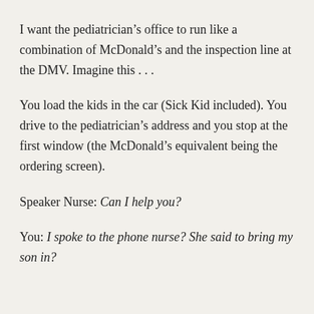I want the pediatrician's office to run like a combination of McDonald's and the inspection line at the DMV. Imagine this . . .
You load the kids in the car (Sick Kid included). You drive to the pediatrician's address and you stop at the first window (the McDonald's equivalent being the ordering screen).
Speaker Nurse: Can I help you?
You: I spoke to the phone nurse? She said to bring my son in?